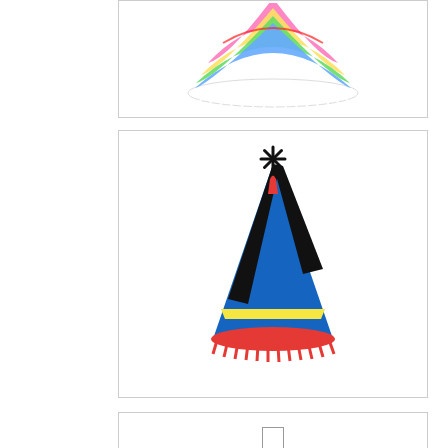[Figure (illustration): Partial view of a colorful rainbow-striped birthday party hat with fringe/tinsel at the bottom, cropped at the top of the image.]
[Figure (illustration): A colorful cartoon birthday party hat with black, blue, yellow and red diagonal stripes, a red fringe/ruffle at the bottom, and a black starburst/asterisk decoration at the top tip.]
[Figure (illustration): Broken image icon followed by hyperlink text reading 'Birthday And Party Elements Birthday Cake']